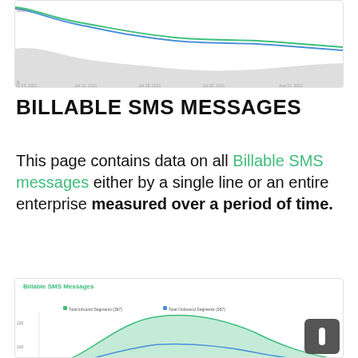[Figure (area-chart): Top portion of an area/line chart showing time series data from Jul 04 2021 to Aug 01 2021, with two lines (green and blue) and a gray shaded area. Y-axis shows values from 0 to 100.]
BILLABLE SMS MESSAGES
This page contains data on all Billable SMS messages either by a single line or an entire enterprise measured over a period of time.
[Figure (area-chart): Bottom portion of a chart titled 'Billable SMS Messages' with legend showing Total Inbound Segments (367) in green and Total Outbound Segments (367) in blue. Chart shows area curves with y-axis values around 100-120.]